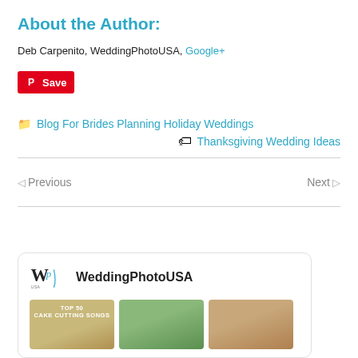About the Author:
Deb Carpenito, WeddingPhotoUSA, Google+
[Figure (other): Pinterest Save button]
📁 Blog For Brides Planning Holiday Weddings
🏷 Thanksgiving Wedding Ideas
◁ Previous    Next ▷
[Figure (other): WeddingPhotoUSA social widget card with logo and thumbnail images]